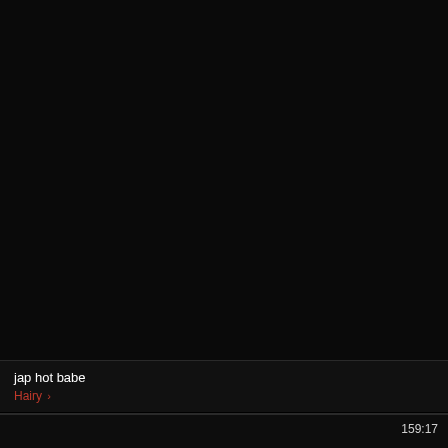[Figure (screenshot): Black video thumbnail area (top card)]
jap hot babe
Hairy >
[Figure (screenshot): Black video thumbnail area (bottom card) with duration 159:17]